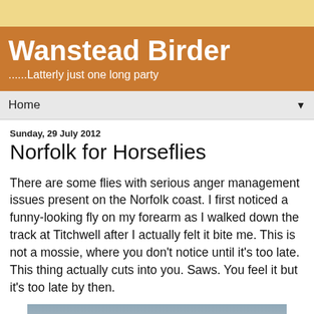Wanstead Birder
......Latterly just one long party
Home
Sunday, 29 July 2012
Norfolk for Horseflies
There are some flies with serious anger management issues present on the Norfolk coast. I first noticed a funny-looking fly on my forearm as I walked down the track at Titchwell after I actually felt it bite me. This is not a mossie, where you don't notice until it's too late. This thing actually cuts into you. Saws. You feel it but it's too late by then.
[Figure (photo): A sky/outdoor photograph, partially visible, showing a grey-blue sky]